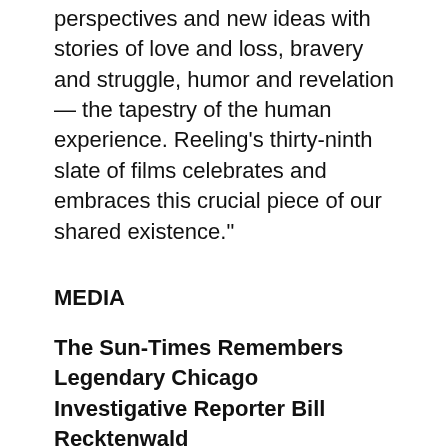perspectives and new ideas with stories of love and loss, bravery and struggle, humor and revelation — the tapestry of the human experience. Reeling's thirty-ninth slate of films celebrates and embraces this crucial piece of our shared existence."
MEDIA
The Sun-Times Remembers Legendary Chicago Investigative Reporter Bill Recktenwald
Mitchell Armentrout at The Sun-Times